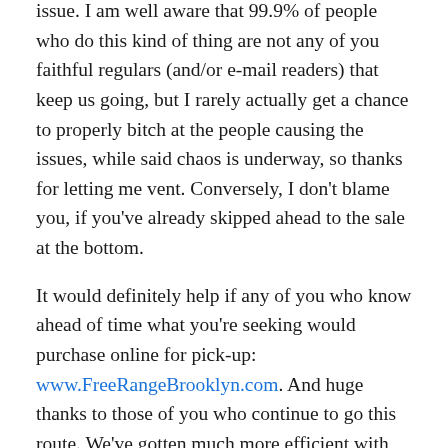issue. I am well aware that 99.9% of people who do this kind of thing are not any of you faithful regulars (and/or e-mail readers) that keep us going, but I rarely actually get a chance to properly bitch at the people causing the issues, while said chaos is underway, so thanks for letting me vent. Conversely, I don't blame you, if you've already skipped ahead to the sale at the bottom.
It would definitely help if any of you who know ahead of time what you're seeking would purchase online for pick-up: www.FreeRangeBrooklyn.com. And huge thanks to those of you who continue to go this route. We've gotten much more efficient with picking and packing time, though deliveries don't always go out as quickly as we'd like- especially on weekends. Sorry about that, and thank you all for your continued support and patience. 8 months into this pandemic, there is still no cohesive national response